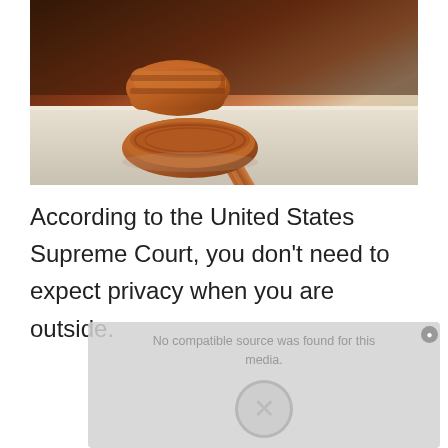[Figure (photo): A wooden judge's gavel resting on its sound block on a white/gray surface, against a dark brown wooden background]
According to the United States Supreme Court, you don't need to expect privacy when you are outside.
[Figure (screenshot): Video player overlay showing 'No compatible source was found for this media.' error message with an X button]